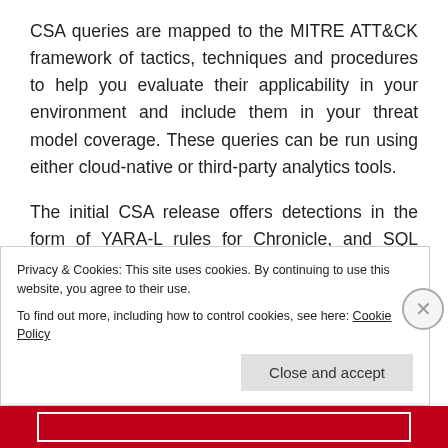CSA queries are mapped to the MITRE ATT&CK framework of tactics, techniques and procedures to help you evaluate their applicability in your environment and include them in your threat model coverage. These queries can be run using either cloud-native or third-party analytics tools.
The initial CSA release offers detections in the form of YARA-L rules for Chronicle, and SQL queries for BigQuery, with more formats to follow based on community feedback.
Privacy & Cookies: This site uses cookies. By continuing to use this website, you agree to their use.
To find out more, including how to control cookies, see here: Cookie Policy
Close and accept